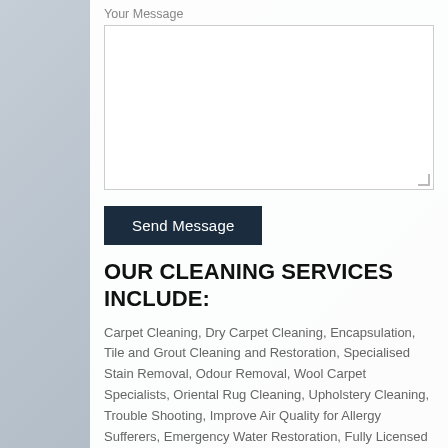Your Message
[Figure (other): A text area input box with a resize handle in the bottom-right corner]
Send Message
OUR CLEANING SERVICES INCLUDE:
Carpet Cleaning, Dry Carpet Cleaning, Encapsulation, Tile and Grout Cleaning and Restoration, Specialised Stain Removal, Odour Removal, Wool Carpet Specialists, Oriental Rug Cleaning, Upholstery Cleaning, Trouble Shooting, Improve Air Quality for Allergy Sufferers, Emergency Water Restoration, Fully Licensed and Insured, Punctual and Professional, Residential, Commercial and Not-for-Profit Organisations and Hard Water Extraction.